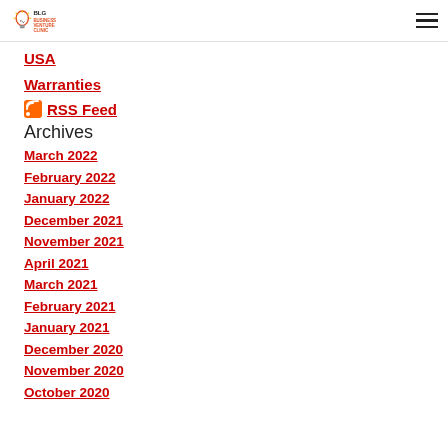BLG Business Venture Clinic
USA
Warranties
RSS Feed
Archives
March 2022
February 2022
January 2022
December 2021
November 2021
April 2021
March 2021
February 2021
January 2021
December 2020
November 2020
October 2020